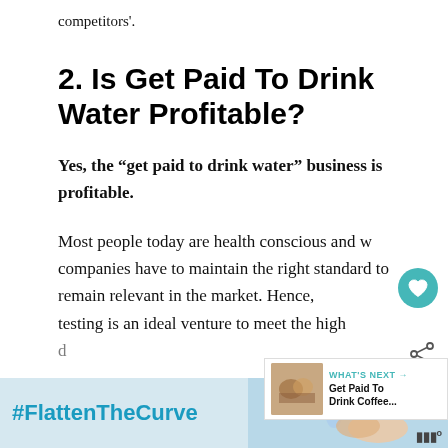competitors'.
2. Is Get Paid To Drink Water Profitable?
Yes, the “get paid to drink water” business is profitable.
Most people today are health conscious and w companies have to maintain the right standard to remain relevant in the market. Hence, testing is an ideal venture to meet the high d
[Figure (screenshot): What's Next widget showing an image and link to 'Get Paid To Drink Coffee...']
[Figure (screenshot): Ad banner with #FlattenTheCurve text and water/hand washing image]